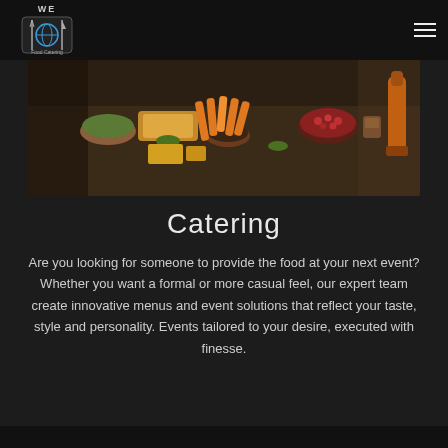WE Food Catering — navigation header with logo and hamburger menu
[Figure (photo): A food catering spread on a table: various dishes, bowls of food including vegetables, fruits, dips, and appetizers displayed on a dark tablecloth]
Catering
Are you looking for someone to provide the food at your next event? Whether you want a formal or more casual feel, our expert team create innovative menus and event solutions that reflect your taste, style and personality. Events tailored to your desire, executed with finesse.